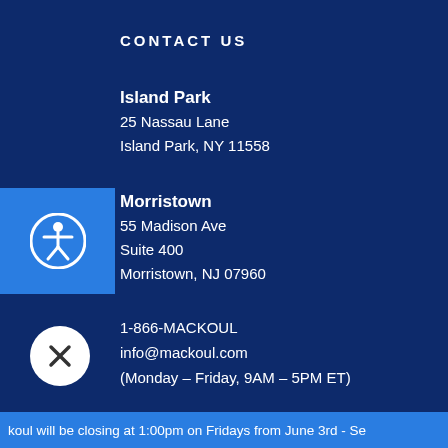CONTACT US
Island Park
25 Nassau Lane
Island Park, NY 11558
[Figure (illustration): Blue accessibility icon bar with person-in-circle symbol on left side]
Morristown
55 Madison Ave
Suite 400
Morristown, NJ 07960
1-866-MACKOUL
info@mackoul.com
(Monday – Friday, 9AM – 5PM ET)
[Figure (illustration): Chat bubble with text: Hi I'm Mac, how can I help you today? with close button and female avatar illustration]
koul will be closing at 1:00pm on Fridays from June 3rd - Se